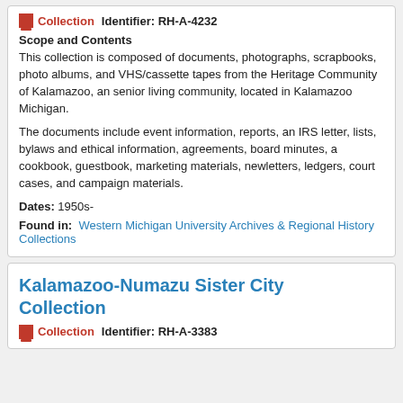Collection   Identifier: RH-A-4232
Scope and Contents
This collection is composed of documents, photographs, scrapbooks, photo albums, and VHS/cassette tapes from the Heritage Community of Kalamazoo, an senior living community, located in Kalamazoo Michigan.
The documents include event information, reports, an IRS letter, lists, bylaws and ethical information, agreements, board minutes, a cookbook, guestbook, marketing materials, newletters, ledgers, court cases, and campaign materials.
Dates: 1950s-
Found in: Western Michigan University Archives & Regional History Collections
Kalamazoo-Numazu Sister City Collection
Collection   Identifier: RH-A-3383